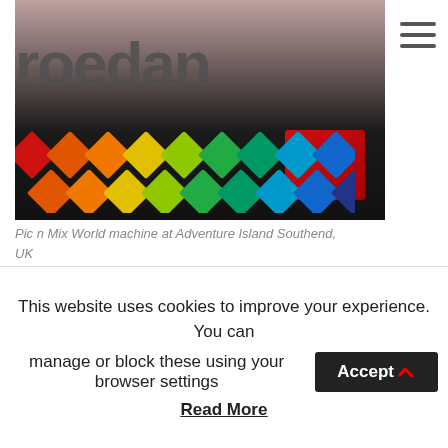[Figure (logo): Roedan logo with grey text 'roedan' and a row of coloured diamond shapes in rainbow colours (red, orange, yellow, green, teal, blue, dark blue), overlaid on a photo of a dark floor with a red machine]
Pic n Mix World machine at Adventure Island Southend, UK
This website uses cookies to improve your experience. You can manage or block these using your browser settings
Read More